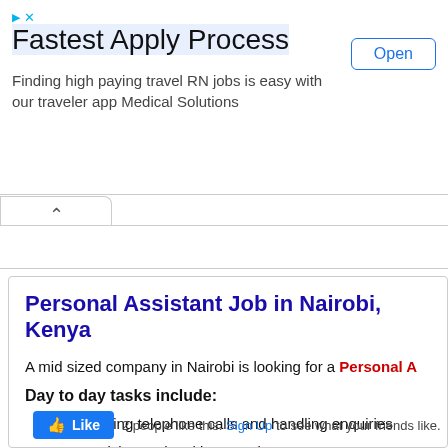[Figure (screenshot): Advertisement banner: Fastest Apply Process - Finding high paying travel RN jobs is easy with our traveler app Medical Solutions, with an Open button]
Personal Assistant Job in Nairobi, Kenya
A mid sized company in Nairobi is looking for a Personal A
Day to day tasks include:
Screening telephone calls and handling enquiries
Organising and making appointments
Dealing with letters and emails
Arranging meetings
2 people like this. Sign Up to see what your friends like.